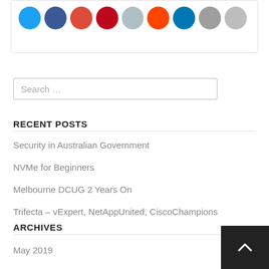[Figure (other): Social share icon buttons: Twitter (blue), Facebook (dark blue), Google (red), Pinterest (dark red), Pocket (grey), Reddit (orange-red), LinkedIn (blue), Email (grey), Print (light grey) — circular icons in a bordered box]
Search …
RECENT POSTS
Security in Australian Government
NVMe for Beginners
Melbourne DCUG 2 Years On
Trifecta – vExpert, NetAppUnited, CiscoChampions
The Two and a Quarter Rule
ARCHIVES
May 2019